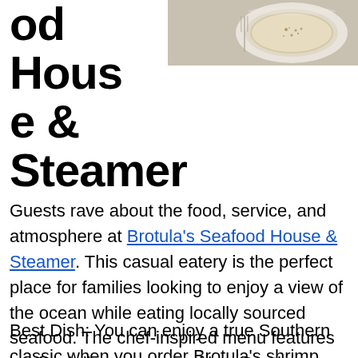[Figure (photo): Photo of a dish, appears to be a bowl of creamy seafood soup or chowder on a plate, viewed from slightly above]
od House & Steamer
Guests rave about the food, service, and atmosphere at Brotula's Seafood House & Steamer. This casual eatery is the perfect place for families looking to enjoy a view of the ocean while eating locally sourced seafood. The chef-inspired menu features seafood dishes prepared in a Southern style, making Brotula's one of the places to get the best seafood in Destin FL.
Best Dish: You can enjoy a true Southern classic when you order Brotula's shrimp